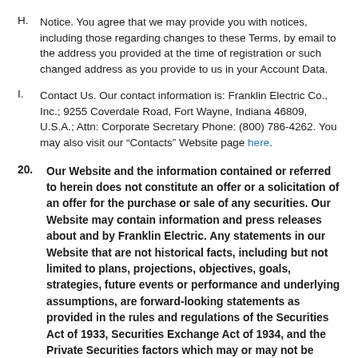H. Notice. You agree that we may provide you with notices, including those regarding changes to these Terms, by email to the address you provided at the time of registration or such changed address as you provide to us in your Account Data.
I. Contact Us. Our contact information is: Franklin Electric Co., Inc.; 9255 Coverdale Road, Fort Wayne, Indiana 46809, U.S.A.; Attn: Corporate Secretary Phone: (800) 786-4262. You may also visit our “Contacts” Website page here.
20. Our Website and the information contained or referred to herein does not constitute an offer or a solicitation of an offer for the purchase or sale of any securities. Our Website may contain information and press releases about and by Franklin Electric. Any statements in our Website that are not historical facts, including but not limited to plans, projections, objectives, goals, strategies, future events or performance and underlying assumptions, are forward-looking statements as provided in the rules and regulations of the Securities Act of 1933, Securities Exchange Act of 1934, and the Private Securities factors which may or may not be disclosed herein. Statements or phrases that use such words as “believes”, “anticipates”, “plans”, “may”, “hopes”, “can”,